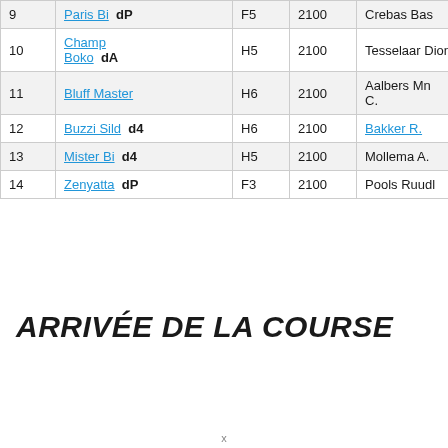| # | Horse | Cat | Weight | Trainer |
| --- | --- | --- | --- | --- |
| 9 | Paris Bi  dP | F5 | 2100 | Crebas Bas |
| 10 | Champ Boko  dA | H5 | 2100 | Tesselaar Dionp. |
| 11 | Bluff Master | H6 | 2100 | Aalbers Mn C. |
| 12 | Buzzi Sild  d4 | H6 | 2100 | Bakker R. |
| 13 | Mister Bi  d4 | H5 | 2100 | Mollema A. |
| 14 | Zenyatta  dP | F3 | 2100 | Pools Ruudl |
ARRIVÉE DE LA COURSE